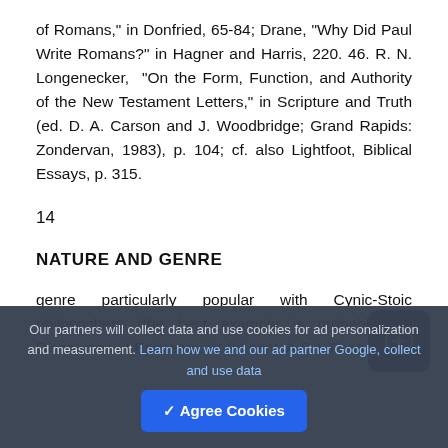of Romans," in Donfried, 65-84; Drane, "Why Did Paul Write Romans?" in Hagner and Harris, 220. 46. R. N. Longenecker, "On the Form, Function, and Authority of the New Testament Letters," in Scripture and Truth (ed. D. A. Carson and J. Woodbridge; Grand Rapids: Zondervan, 1983), p. 104; cf. also Lightfoot, Biblical Essays, p. 315.
14
NATURE AND GENRE
genre particularly popular with Cynic-Stoic philosophers (the best example is probably the Discourses of Epictetus, lst-2d cent, A.D.). Features
Our partners will collect data and use cookies for ad personalization and measurement. Learn how we and our ad partner Google, collect and use data